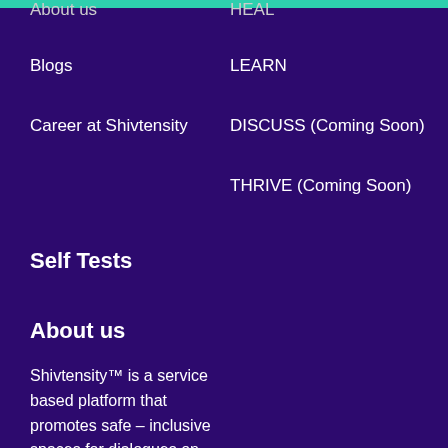About us
HEAL
Blogs
LEARN
Career at Shivtensity
DISCUSS (Coming Soon)
THRIVE (Coming Soon)
Self Tests
About us
Shivtensity™ is a service based platform that promotes safe – inclusive spaces for dialogues on sexuality, disability and mental health. We work towards reducing the taboo with relevant information in